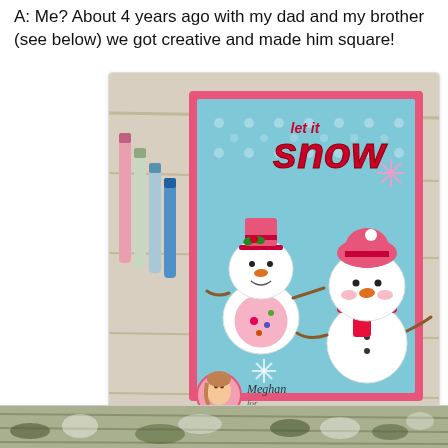A: Me? About 4 years ago with my dad and my brother (see below) we got creative and made him square!
[Figure (photo): A handmade greeting card with two snowmen on a teal patterned background with pink border. Text reads 'let it snow'. There is a shaker element with buttons, and a logo at the bottom reading 'Meghan for Paper Nest Dolls'. Copic markers visible to the left of the card.]
[Figure (photo): Partial view of another image at the bottom of the page, showing a nature or outdoor scene.]